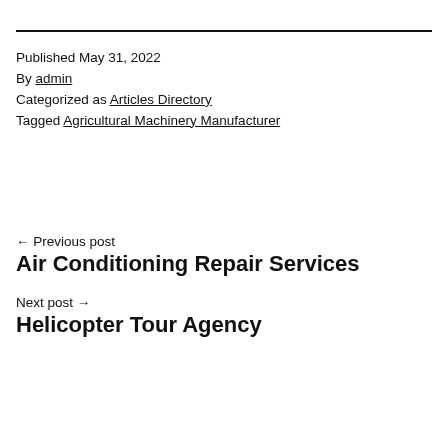Published May 31, 2022
By admin
Categorized as Articles Directory
Tagged Agricultural Machinery Manufacturer
← Previous post
Air Conditioning Repair Services
Next post →
Helicopter Tour Agency